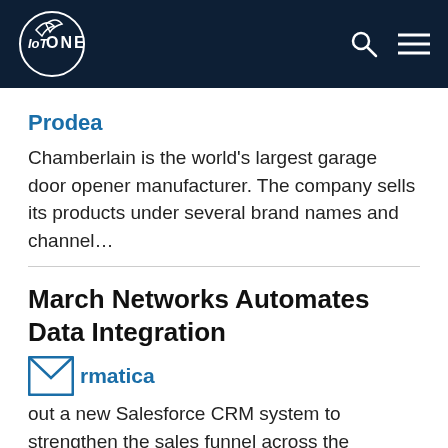IoT ONE
Prodea
Chamberlain is the world's largest garage door opener manufacturer. The company sells its products under several brand names and channel...
March Networks Automates Data Integration
Informatica
out a new Salesforce CRM system to strengthen the sales funnel across the company's digital properties and customer touchpoints,...